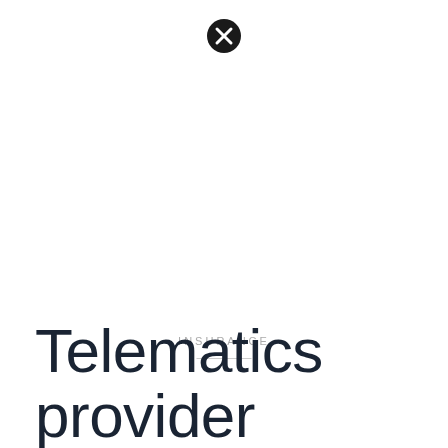[Figure (illustration): A circular black icon with an X (close/cancel symbol) in the center, positioned near the top center of the page.]
INSURANCE
Telematics provider